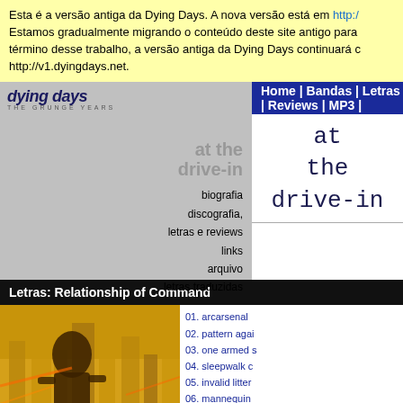Esta é a versão antiga da Dying Days. A nova versão está em http:/ Estamos gradualmente migrando o conteúdo deste site antigo para término desse trabalho, a versão antiga da Dying Days continuará c http://v1.dyingdays.net.
Home | Bandas | Letras | Reviews | MP3 |
at
the
drive-in
Letras: Relationship of Command
[Figure (photo): Album cover for At The Drive-In - Relationship of Command, featuring yellow/gold artwork with figure silhouette against cityscape]
01. arcarsenal
02. pattern agai
03. one armed s
04. sleepwalk c
05. invalid litter
06. mannequin
07. enfilade
08. rolodex pro
09. quarantined
10. cosmonaut
11. non-zero po
12. catacombs